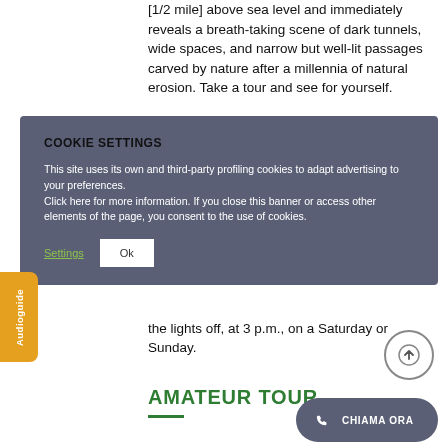[1/2 mile] above sea level and immediately reveals a breath-taking scene of dark tunnels, wide spaces, and narrow but well-lit passages carved by nature after a millennia of natural erosion. Take a tour and see for yourself.
COOKIE SETTINGS
This site uses its own and third-party profiling cookies to adapt advertising to your preferences.
Click here for more information. If you close this banner or access other elements of the page, you consent to the use of cookies.
the lights off, at 3 p.m., on a Saturday or Sunday.
AMATEUR TOUR
CHIAMA ORA